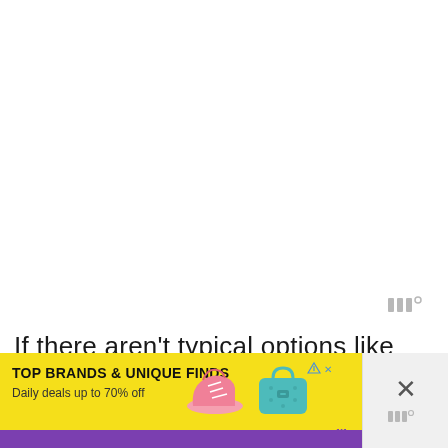[Figure (other): Wordmark logo with three vertical bars and superscript degree symbol in light gray]
If there aren't typical options like volunteering at a soup kitchen, consider something that can be done at home. Otherwise, find an
[Figure (other): Advertisement banner for Zulily: 'TOP BRANDS & UNIQUE FINDS — Daily deals up to 70% off' with images of a pink shoe and teal bag, yellow background, purple Zulily branding, ad choice icon, and close button with wordmark on the right side]